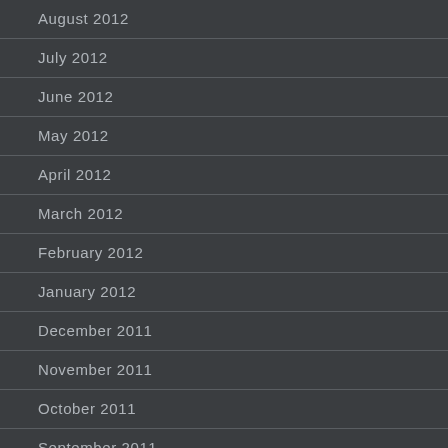August 2012
July 2012
June 2012
May 2012
April 2012
March 2012
February 2012
January 2012
December 2011
November 2011
October 2011
September 2011